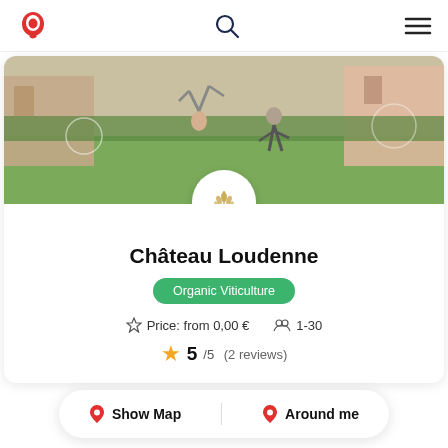Header with logo, search, and menu icons
[Figure (photo): Outdoor photo of people doing acrobatics on a green lawn in front of a château building]
[Figure (logo): Loudenne château logo – circular white badge with golden wheat sheaf and text LOUDENNE]
Château Loudenne
Organic Viticulture
Price: from 0,00 €   1-30
5/5  (2 reviews)
Show Map   Around me